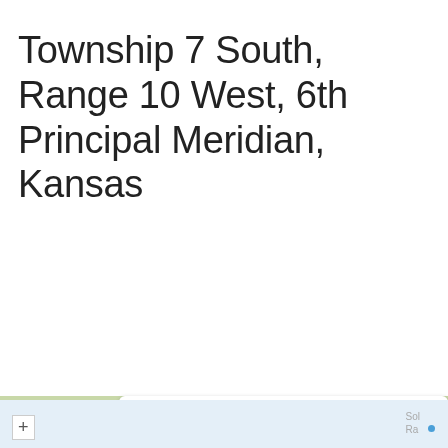Township 7 South, Range 10 West, 6th Principal Meridian, Kansas
[Figure (screenshot): Map UI screenshot showing a 'Searching...' button over a light blue map area, a search bar reading 'Search places (e.g. address, city)', a partial road map with highway shields for routes 181, 24, and 281 showing towns Downs, Caw(ker City), Glen Elder, and a map/satellite/POI tab switcher, plus a zoom + button and a location dot near 'Sol Ra'.]